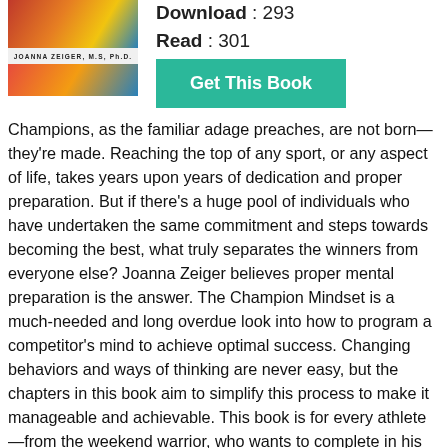[Figure (photo): Book cover for 'The Champion Mindset' by Joanna Zeiger, M.S., Ph.D. — colorful athletic imagery with author name in bold letters]
Download : 293
Read : 301
Get This Book
Champions, as the familiar adage preaches, are not born—they're made. Reaching the top of any sport, or any aspect of life, takes years upon years of dedication and proper preparation. But if there's a huge pool of individuals who have undertaken the same commitment and steps towards becoming the best, what truly separates the winners from everyone else? Joanna Zeiger believes proper mental preparation is the answer. The Champion Mindset is a much-needed and long overdue look into how to program a competitor's mind to achieve optimal success. Changing behaviors and ways of thinking are never easy, but the chapters in this book aim to simplify this process to make it manageable and achievable. This book is for every athlete—from the weekend warrior, who wants to complete in his or her first 5k running race, to those who have aspirations of one day becoming Olympians and world champions. The Champion Mindset is a compendium of Zeiger's own personal journey from struggling novice swimmer